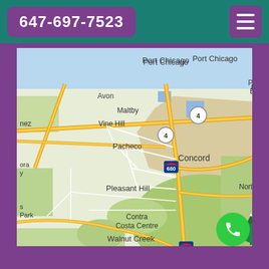647-697-7523
[Figure (map): Google Maps view showing the Concord, California area including locations: Port Chicago, Bay Point, Pittsburg, Avon, Maltby, Vine Hill, Pacheco, Concord, Pleasant Hill, Walnut Creek, Contra Costa Centre, Clayton, Nortonville, Lafayette, Rossmoor, Mt Diablo. Highway 4 and 680 are visible.]